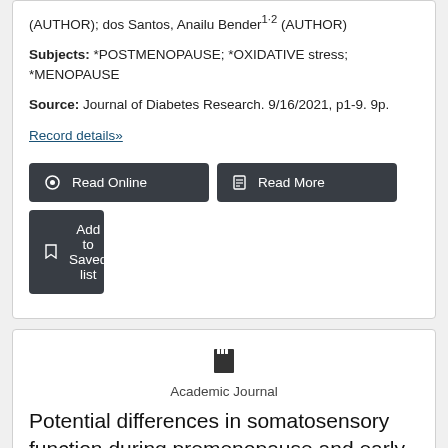(AUTHOR); dos Santos, Anailu Bender¹·² (AUTHOR)
Subjects: *POSTMENOPAUSE; *OXIDATIVE stress; *MENOPAUSE
Source: Journal of Diabetes Research. 9/16/2021, p1-9. 9p.
Record details»
Read Online
Read More
Add to Saved list
Academic Journal
Potential differences in somatosensory function during premenopause and early and late postmenopause in patients with